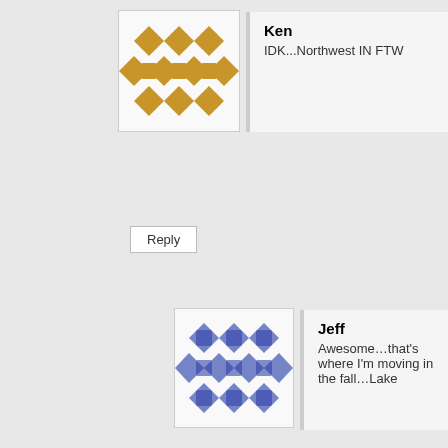[Figure (illustration): Ken user avatar - gold geometric pattern on white background]
Ken
IDK...Northwest IN FTW
Reply
[Figure (illustration): Jeff user avatar - blue geometric pattern on white background]
Jeff
Awesome…that's where I'm moving in the fall…Lake
[Figure (illustration): Gus user avatar - purple geometric pattern on white background]
Gus.
Interesting review. I found Hoptimum a little one note on the hop sid fruity, grassy things I like in IPAs. Jut got bitter. Not a bad beer, just
Reply
[Figure (illustration): Pat user avatar - purple geometric pattern on white background]
pat
Advertisements
[Figure (infographic): DuckDuckGo advertisement banner: orange background with text 'Search, browse, and email with more privacy. All in One Free App' and DuckDuckGo logo on dark background]